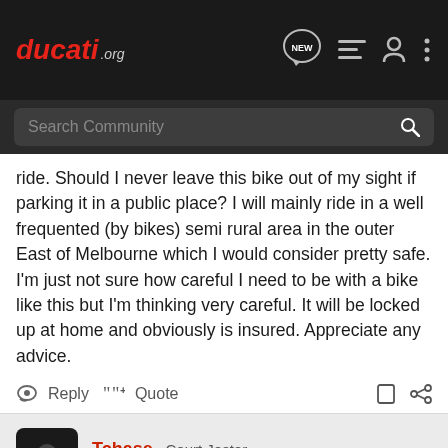ducati.org — NEW — hamburger menu — user icon — more options
Search Community
ride. Should I never leave this bike out of my sight if parking it in a public place? I will mainly ride in a well frequented (by bikes) semi rural area in the outer East of Melbourne which I would consider pretty safe. I'm just not sure how careful I need to be with a bike like this but I'm thinking very careful. It will be locked up at home and obviously is insured. Appreciate any advice.
Reply  Quote
Tchase · Court Jester
Joined Oct 25, 2012 · 12,114 Posts
#2 · Oct 14, 2015